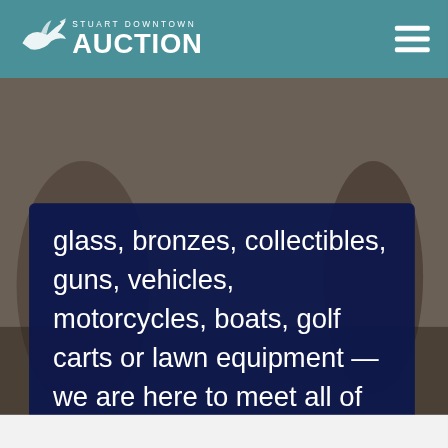Stuart Downtown Auction
[Figure (logo): Stuart Downtown Auction logo with marlin fish icon and text 'STUART DOWNTOWN AUCTION' on teal header bar with hamburger menu icon]
glass, bronzes, collectibles, guns, vehicles, motorcycles, boats, golf carts or lawn equipment — we are here to meet all of your selling needs in one complete package.
VIEW UPCOMING AUCTIONS
One call we